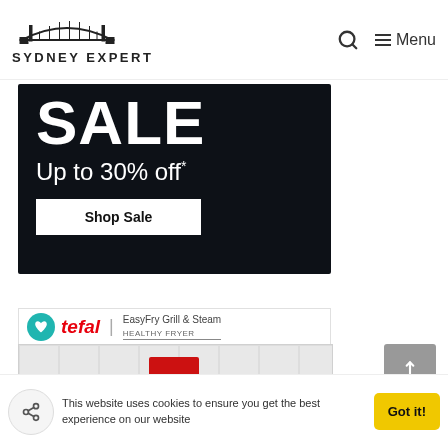[Figure (logo): Sydney Expert logo with Sydney Harbour Bridge illustration above the text 'SYDNEY EXPERT']
[Figure (infographic): Dark navy sale banner reading 'SALE Up to 30% off*' with a 'Shop Sale' white button on dark background]
[Figure (logo): Tefal brand logo in red italic with EasyFry Grill & Steam product name and teal heart/wishlist icon]
[Figure (photo): Product image area with gray background tiles, partially visible red element]
This website uses cookies to ensure you get the best experience on our website
Got it!